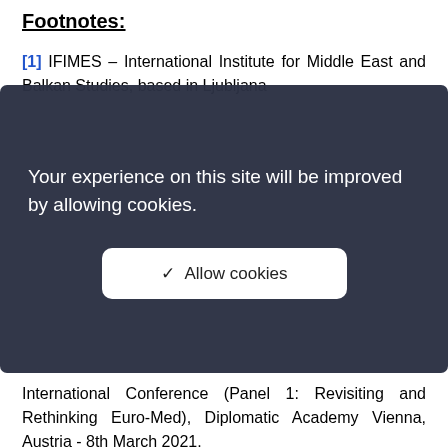Footnotes:
[1] IFIMES – International Institute for Middle East and Balkan Studies, based in Ljubljana...
Your experience on this site will be improved by allowing cookies.
✓  Allow cookies
International Conference (Panel 1: Revisiting and Rethinking Euro-Med), Diplomatic Academy Vienna, Austria - 8th March 2021.
Researches
19.08.2022
President Biden's Visit to Saudi Arabia: Sa...
05.08.2022